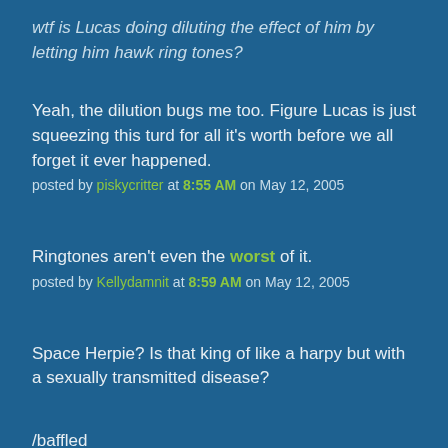wtf is Lucas doing diluting the effect of him by letting him hawk ring tones?
Yeah, the dilution bugs me too. Figure Lucas is just squeezing this turd for all it's worth before we all forget it ever happened.
posted by piskycritter at 8:55 AM on May 12, 2005
Ringtones aren't even the worst of it.
posted by Kellydamnit at 8:59 AM on May 12, 2005
Space Herpie? Is that king of like a harpy but with a sexually transmitted disease?
/baffled